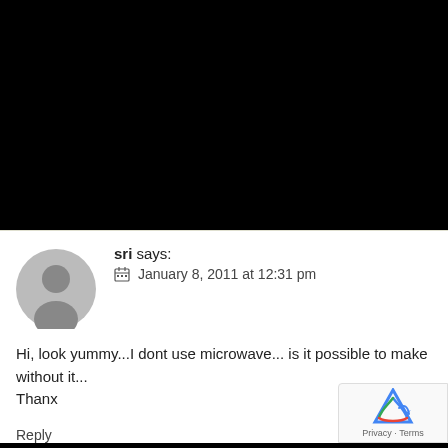[Figure (photo): Black rectangle occupying the top portion of the page (image not visible)]
sri says:
January 8, 2011 at 12:31 pm
Hi, look yummy...I dont use microwave... is it possible to make without it...
Thanx
Reply